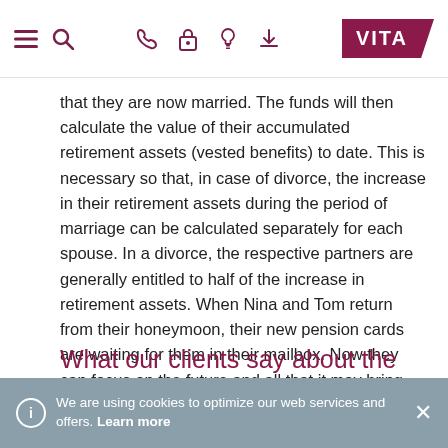VITA navigation bar with menu, search, phone, lock, info, download icons and VITA logo
that they are now married. The funds will then calculate the value of their accumulated retirement assets (vested benefits) to date. This is necessary so that, in case of divorce, the increase in their retirement assets during the period of marriage can be calculated separately for each spouse. In a divorce, the respective partners are generally entitled to half of the increase in retirement assets. When Nina and Tom return from their honeymoon, their new pension cards are waiting for them in their mailbox. Now they can focus on the future and all that it may bring.
What our clients say about the topic of marriage versus life partnership:
We are using cookies to optimize our web services and offers. Learn more